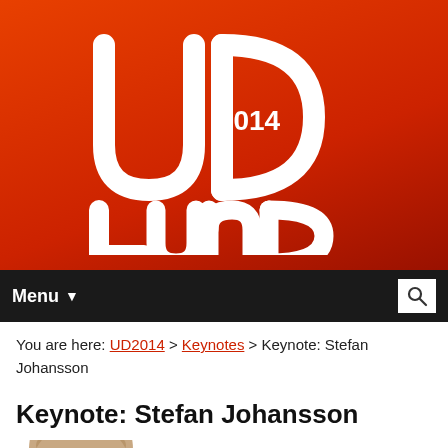[Figure (logo): UD2014 Lund conference logo — white stylized 'UD' letters with '2014' text and 'Lund' text below, on an orange-red gradient background]
Menu ▼  [search icon]
You are here: UD2014 > Keynotes > Keynote: Stefan Johansson
Keynote: Stefan Johansson
[Figure (photo): Partial photo of Stefan Johansson's face/head, cropped at bottom of page]